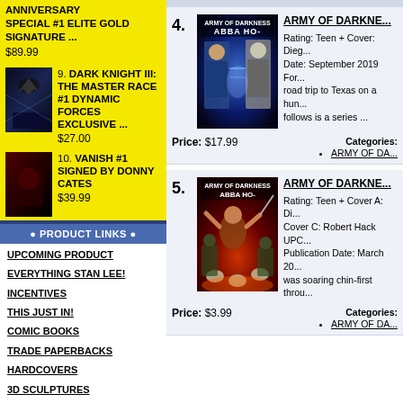ANNIVERSARY SPECIAL #1 ELITE GOLD SIGNATURE ... $89.99
9. DARK KNIGHT III: THE MASTER RACE #1 DYNAMIC FORCES EXCLUSIVE ... $27.00
10. VANISH #1 SIGNED BY DONNY CATES $39.99
● PRODUCT LINKS ●
UPCOMING PRODUCT
EVERYTHING STAN LEE!
INCENTIVES
THIS JUST IN!
COMIC BOOKS
TRADE PAPERBACKS
HARDCOVERS
3D SCULPTURES
CGC GRADED COMICS
LITHOGRAPHS AND POSTERS
TRADING CARDS
PRODUCT ARCHIVE
[Figure (screenshot): Product listing item 4: Army of Darkness Abba Ho-Te comic cover showing two characters facing each other with blue energy background]
4. ARMY OF DARKNE... Rating: Teen + Cover: Dieg... Date: September 2019 For... road trip to Texas on a hun... follows is a series ...
Price: $17.99
Categories: • ARMY OF DA...
[Figure (screenshot): Product listing item 5: Army of Darkness Abba Ho-Te comic cover showing action scene with red/orange background]
5. ARMY OF DARKNE... Rating: Teen + Cover A: Di... Cover C: Robert Hack UPC... Publication Date: March 20... was soaring chin-first throu...
Price: $3.99
Categories: • ARMY OF DA...